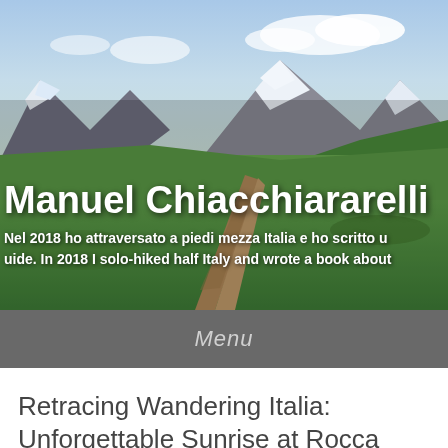[Figure (photo): Mountain landscape with a dirt hiking trail winding through green alpine meadows, snow-capped rocky peaks in the background under a partly cloudy sky. Blog header image.]
Manuel Chiacchiararelli
Nel 2018 ho attraversato a piedi mezza Italia e ho scritto u[n libro/na guida]. In 2018 I solo-hiked half Italy and wrote a book about [it].
Menu
Retracing Wandering Italia: Unforgettable Sunrise at Rocca Calascio
Posted on 13 Giugno 2022 by inerro.land